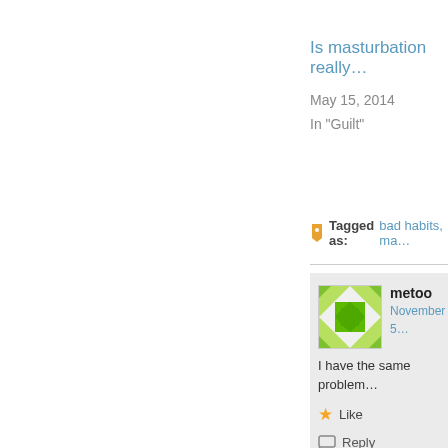Is masturbation really…
May 15, 2014
In "Guilt"
Tagged as: bad habits, ma…
metoo
November 5…
I have the same problem
Like
Reply